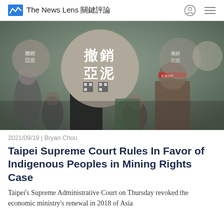The News Lens 關鍵評論
[Figure (photo): Protesters holding round signs with Chinese characters 撤銷亞泥 (Revoke Asia Cement) at a demonstration. Crowd of people, some wearing red headbands, holding protest placards in an outdoor setting.]
2021/09/19 | Bryan Chou
Taipei Supreme Court Rules In Favor of Indigenous Peoples in Mining Rights Case
Taipei's Supreme Administrative Court on Thursday revoked the economic ministry's renewal in 2018 of Asia